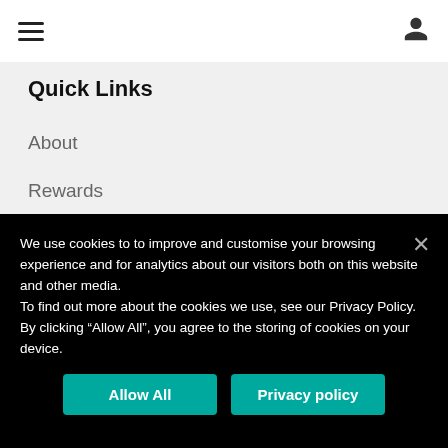Navigation bar with hamburger menu and user icon
Quick Links
About
Rewards
Dining Categories
Help
We use cookies to to improve and customise your browsing experience and for analytics about our visitors both on this website and other media.
To find out more about the cookies we use, see our Privacy Policy.
By clicking “Allow All”, you agree to the storing of cookies on your device.
Allow All
Privacy policy